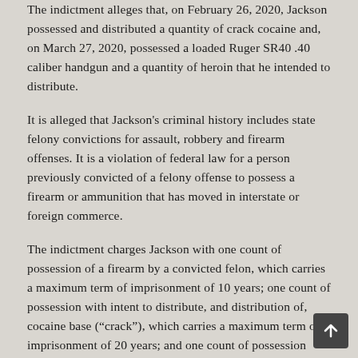The indictment alleges that, on February 26, 2020, Jackson possessed and distributed a quantity of crack cocaine and, on March 27, 2020, possessed a loaded Ruger SR40 .40 caliber handgun and a quantity of heroin that he intended to distribute.
It is alleged that Jackson's criminal history includes state felony convictions for assault, robbery and firearm offenses. It is a violation of federal law for a person previously convicted of a felony offense to possess a firearm or ammunition that has moved in interstate or foreign commerce.
The indictment charges Jackson with one count of possession of a firearm by a convicted felon, which carries a maximum term of imprisonment of 10 years; one count of possession with intent to distribute, and distribution of, cocaine base (“crack”), which carries a maximum term of imprisonment of 20 years; and one count of possession with intent to distribute heroin, which carries a maximum term of imprisonment of 20 years.